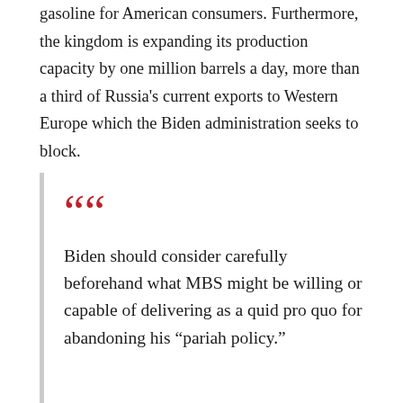gasoline for American consumers. Furthermore, the kingdom is expanding its production capacity by one million barrels a day, more than a third of Russia's current exports to Western Europe which the Biden administration seeks to block.
Biden should consider carefully beforehand what MBS might be willing or capable of delivering as a quid pro quo for abandoning his “pariah policy.”